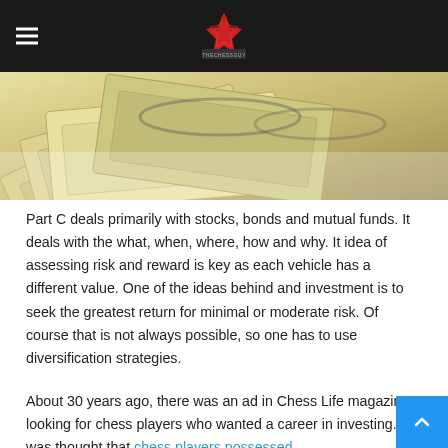The Chess Guy logo and navigation
[Figure (photo): Fan of US dollar bills spread out, close-up photo of cash money]
Part C deals primarily with stocks, bonds and mutual funds. It deals with the what, when, where, how and why. It idea of assessing risk and reward is key as each vehicle has a different value. One of the ideas behind and investment is to seek the greatest return for minimal or moderate risk. Of course that is not always possible, so one has to use diversification strategies.
About 30 years ago, there was an ad in Chess Life magazine looking for chess players who wanted a career in investing. It was thought that chess players possessed